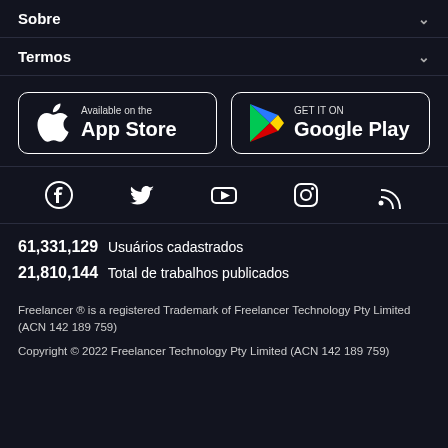Sobre
Termos
[Figure (screenshot): App Store and Google Play store buttons]
[Figure (infographic): Social media icons: Facebook, Twitter, YouTube, Instagram, RSS]
61,331,129 Usuários cadastrados
21,810,144 Total de trabalhos publicados
Freelancer ® is a registered Trademark of Freelancer Technology Pty Limited (ACN 142 189 759)
Copyright © 2022 Freelancer Technology Pty Limited (ACN 142 189 759)